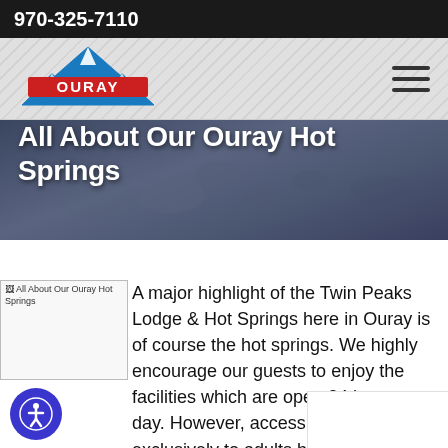970-325-7110
[Figure (logo): Ouray Mountain Adventures logo — blue triangle mountain shape with red text 'OURAY' and smaller text 'MOUNTAIN ADVENTURES']
All About Our Ouray Hot Springs
[Figure (photo): All About Our Ouray Hot Springs — image placeholder showing alt text]
A major highlight of the Twin Peaks Lodge & Hot Springs here in Ouray is of course the hot springs. We highly encourage our guests to enjoy the facilities which are open 24 hours a day. However, access is limited exclusively to adults between the hours of 10pm to 8am.